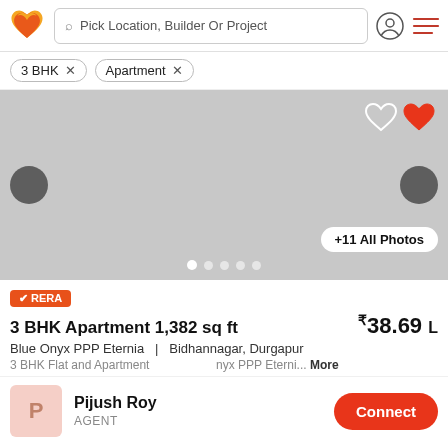Pick Location, Builder Or Project
3 BHK ×
Apartment ×
[Figure (photo): Property listing image carousel (gray placeholder) with left/right navigation arrows, heart icons (outline and filled red) at top right, +11 All Photos button at bottom right, and navigation dots at bottom]
RERA
3 BHK Apartment 1,382 sq ft
₹38.69 L
Blue Onyx PPP Eternia   |   Bidhannagar, Durgapur
3 BHK Flat and Apartment  ...nyx PPP Eterni...  More
Pijush Roy
AGENT
Connect